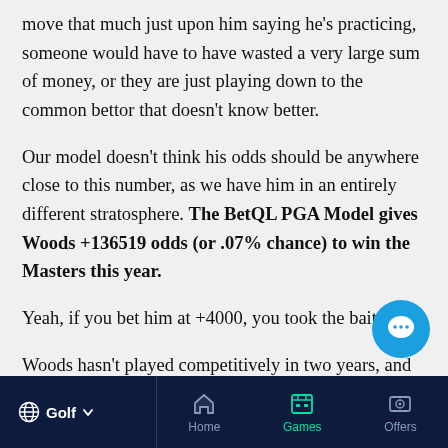move that much just upon him saying he's practicing, someone would have to have wasted a very large sum of money, or they are just playing down to the common bettor that doesn't know better.
Our model doesn't think his odds should be anywhere close to this number, as we have him in an entirely different stratosphere. The BetQL PGA Model gives Woods +136519 odds (or .07% chance) to win the Masters this year.
Yeah, if you bet him at +4000, you took the bait.
Woods hasn't played competitively in two years, and he
Golf ∨   Home   Games   Offers